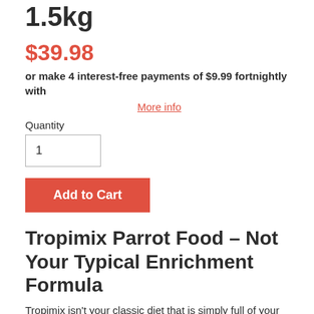1.5kg
$39.98
or make 4 interest-free payments of $9.99 fortnightly with
More info
Quantity
1
Add to Cart
Tropimix Parrot Food – Not Your Typical Enrichment Formula
Tropimix isn't your classic diet that is simply full of your